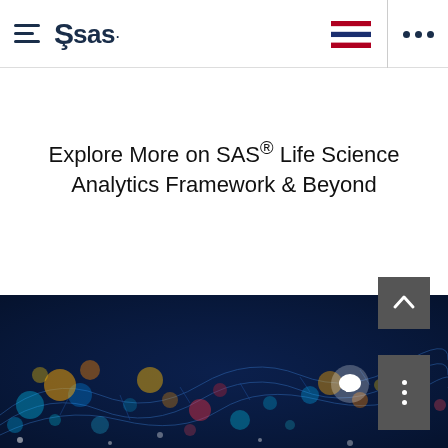SAS logo and navigation header with hamburger menu, SAS wordmark, Thai flag icon, and more options dots
Explore More on SAS® Life Science Analytics Framework & Beyond
[Figure (photo): Dark blue background with colorful bokeh lights (blue, teal, orange, red, yellow dots) and a wireframe DNA/wave structure in blue, representing life science analytics data visualization]